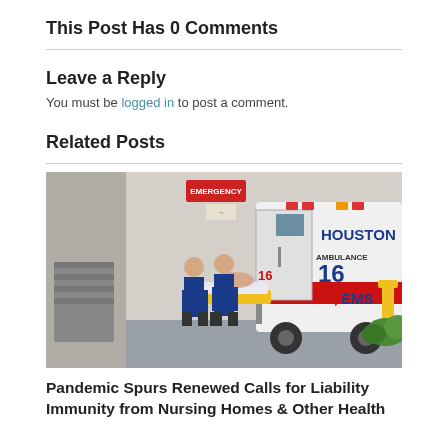This Post Has 0 Comments
Leave a Reply
You must be logged in to post a comment.
Related Posts
[Figure (photo): Two paramedics in blue uniforms loading a patient on a stretcher into a Houston Ambulance 16 / EMS vehicle outside a hospital building. A yellow pole and green shrubbery are visible in the background.]
Pandemic Spurs Renewed Calls for Liability Immunity from Nursing Homes & Other Health